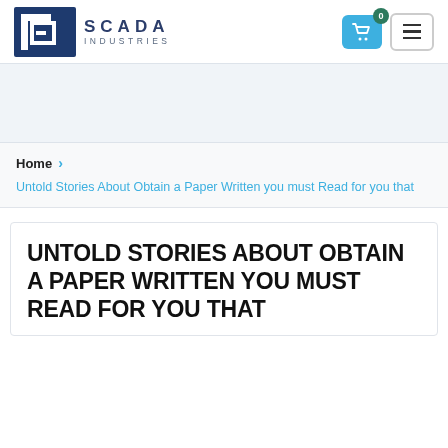[Figure (logo): SCADA Industries logo with dark blue square icon and SCADA INDUSTRIES text]
SCADA INDUSTRIES
Home
Untold Stories About Obtain a Paper Written you must Read for you that
UNTOLD STORIES ABOUT OBTAIN A PAPER WRITTEN YOU MUST READ FOR YOU THAT